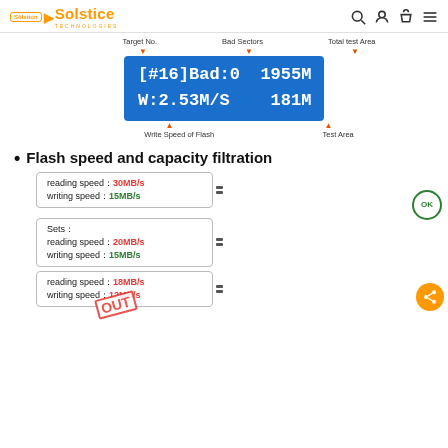Solstice Technologies
[Figure (infographic): Diagram of a flash drive test result display showing Target No., Bad Sectors, Total test Area labels pointing to a blue display reading [#16]Bad:0 1955M W:2.53M/S 181M with Write Speed of Flash and Test Area labels below]
Flash speed and capacity filtration
[Figure (infographic): Three flash card examples showing speed filtration: first card reading speed 30MB/s writing speed 15MB/s with OK badge; second card Sets: reading speed 20MB/s writing speed 15MB/s; third card reading speed 18MB/s writing speed 12MB/s with OUT stamp]